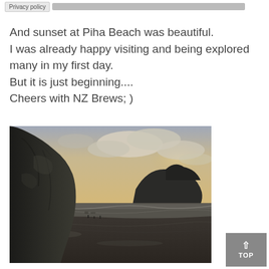Privacy policy
And sunset at Piha Beach was beautiful.
I was already happy visiting and being explored many in my first day.
But it is just beginning....
Cheers with NZ Brews; )
[Figure (photo): Photograph of Piha Beach at sunset showing large dark rocky cliffs/formations on left side, a prominent rock formation in the middle distance, ocean waves, wet sandy beach in foreground, and a dramatic cloudy sky lit by sunset light.]
TOP